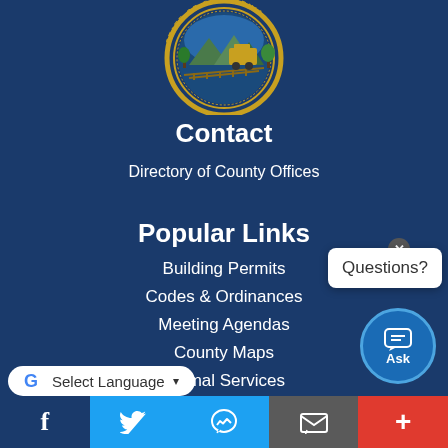[Figure (logo): California State Seal - circular seal with golden border, blue background, depicting railroad tracks and mountains with 'State of California' text]
Contact
Directory of County Offices
Popular Links
Building Permits
Codes & Ordinances
Meeting Agendas
County Maps
Animal Services
[Figure (screenshot): Chat popup with 'Questions?' text and an 'Ask' button with chat bubble icon]
Social media and sharing bar: Facebook, Twitter, Messenger, Email, More